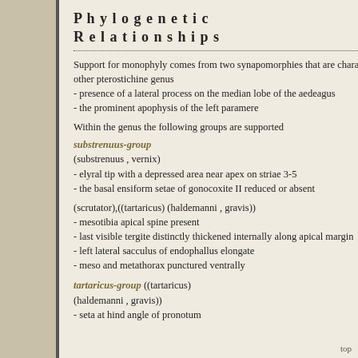Phylogenetic Relationships
Support for monophyly comes from two synapomorphies that are character states not known from any other pterostichine genus
- presence of a lateral process on the median lobe of the aedeagus
- the prominent apophysis of the left paramere
Within the genus the following groups are supported
substrenuus-group
(substrenuus , vernix)
- elyral tip with a depressed area near apex on striae 3-5
- the basal ensiform setae of gonocoxite II reduced or absent
(scrutator),((tartaricus) (haldemanni , gravis))
- mesotibia apical spine present
- last visible tergite distinctly thickened internally along apical margin
- left lateral sacculus of endophallus elongate
- meso and metathorax punctured ventrally
tartaricus-group
((tartaricus) (haldemanni , gravis))
- seta at hind angle of pronotum